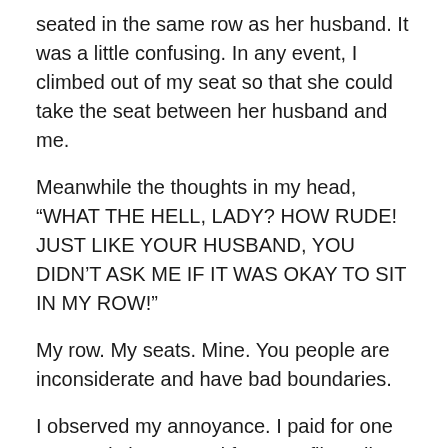seated in the same row as her husband. It was a little confusing. In any event, I climbed out of my seat so that she could take the seat between her husband and me.
Meanwhile the thoughts in my head, “WHAT THE HELL, LADY? HOW RUDE! JUST LIKE YOUR HUSBAND, YOU DIDN’T ASK ME IF IT WAS OKAY TO SIT IN MY ROW!”
My row. My seats. Mine. You people are inconsiderate and have bad boundaries.
I observed my annoyance. I paid for one seat and since I used frequent flier miles, I think the total cost of this leg of the trip was about $5. I had fully expected to sit next to two other passengers when I initially sat down. But once it was announced that the plane was fully boarded, it took me all of five minutes to lay claim to an entire row on an airplane that didn’t belong to me. In fact, I was really just ranting